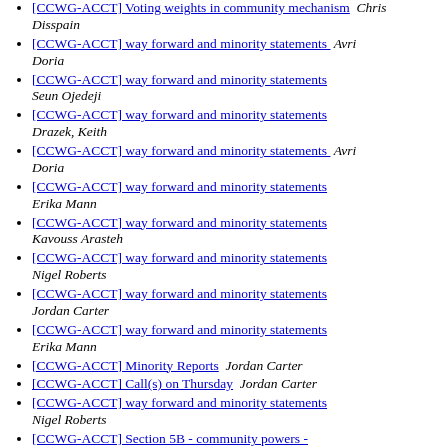[CCWG-ACCT] Voting weights in community mechanism  Chris Disspain
[CCWG-ACCT] way forward and minority statements  Avri Doria
[CCWG-ACCT] way forward and minority statements  Seun Ojedeji
[CCWG-ACCT] way forward and minority statements  Drazek, Keith
[CCWG-ACCT] way forward and minority statements  Avri Doria
[CCWG-ACCT] way forward and minority statements  Erika Mann
[CCWG-ACCT] way forward and minority statements  Kavouss Arasteh
[CCWG-ACCT] way forward and minority statements  Nigel Roberts
[CCWG-ACCT] way forward and minority statements  Jordan Carter
[CCWG-ACCT] way forward and minority statements  Erika Mann
[CCWG-ACCT] Minority Reports  Jordan Carter
[CCWG-ACCT] Call(s) on Thursday  Jordan Carter
[CCWG-ACCT] way forward and minority statements  Nigel Roberts
[CCWG-ACCT] Section 5B - community powers - consolidated draft  Jordan Carter